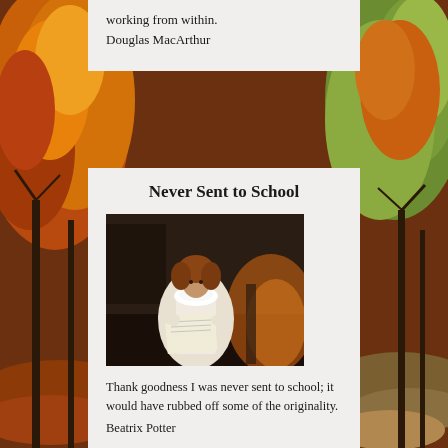working from within.
Douglas MacArthur
Never Sent to School
[Figure (photo): A person in Victorian-era white ruffled clothing reading a document, seated in a dimly lit room with fireplace glow in background.]
Thank goodness I was never sent to school; it would have rubbed off some of the originality.
Beatrix Potter